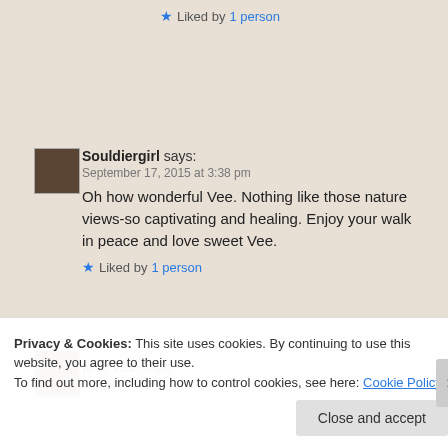★ Liked by 1 person
Souldiergirl says:
September 17, 2015 at 3:38 pm
Oh how wonderful Vee. Nothing like those nature views-so captivating and healing. Enjoy your walk in peace and love sweet Vee.
★ Liked by 1 person
Ms. Vee says:
Privacy & Cookies: This site uses cookies. By continuing to use this website, you agree to their use.
To find out more, including how to control cookies, see here: Cookie Policy
Close and accept